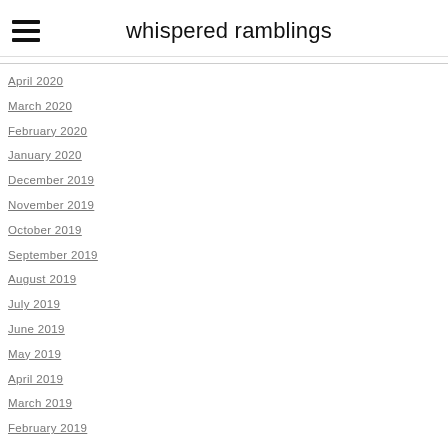whispered ramblings
April 2020
March 2020
February 2020
January 2020
December 2019
November 2019
October 2019
September 2019
August 2019
July 2019
June 2019
May 2019
April 2019
March 2019
February 2019
January 2019
December 2018
November 2018
October 2018